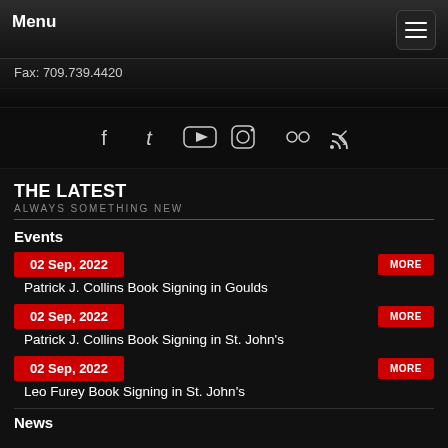Menu
Fax: 709.739.4420
[Figure (infographic): Social media icons row: Facebook, Twitter, YouTube, Instagram, Flickr, RSS]
THE LATEST
ALWAYS SOMETHING NEW
Events
02 Sep, 2022 | Patrick J. Collins Book Signing in Goulds | MORE
02 Sep, 2022 | Patrick J. Collins Book Signing in St. John's | MORE
02 Sep, 2022 | Leo Furey Book Signing in St. John's | MORE
News